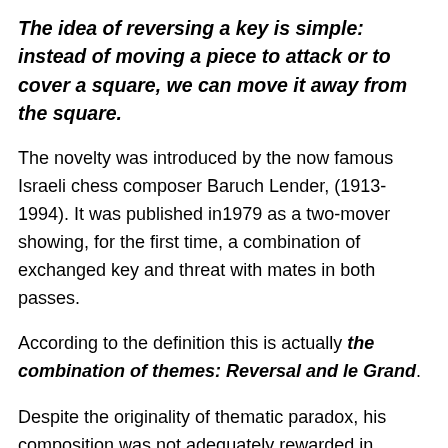The idea of reversing a key is simple: instead of moving a piece to attack or to cover a square, we can move it away from the square.
The novelty was introduced by the now famous Israeli chess composer Baruch Lender, (1913-1994). It was published in1979 as a two-mover showing, for the first time, a combination of exchanged key and threat with mates in both passes.
According to the definition this is actually the combination of themes: Reversal and le Grand.
Despite the originality of thematic paradox, his composition was not adequately rewarded in tourney, and therefore this new combination remained unnoticed for a while.